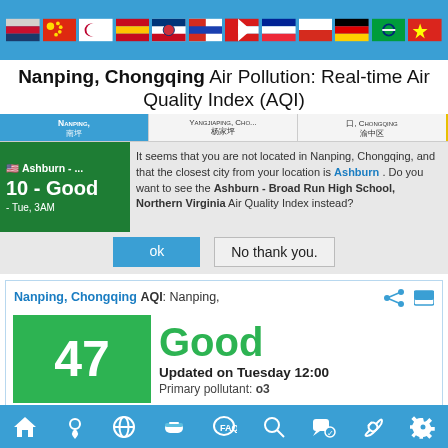[Figure (screenshot): Top navigation bar with country flag icons on a blue background]
Nanping, Chongqing Air Pollution: Real-time Air Quality Index (AQI)
| NANPING, | YANGJIAPING, CHO... | 口, CHONGQING |
| --- | --- | --- |
| 南坪 | 杨家坪 | 渝中区 |
It seems that you are not located in Nanping, Chongqing, and that the closest city from your location is Ashburn. Do you want to see the Ashburn - Broad Run High School, Northern Virginia Air Quality Index instead?
ok   No thank you.
Nanping, Chongqing AQI: Nanping,
Good
Updated on Tuesday 12:00
Primary pollutant: o3
Current Past 48 hours data   Min M